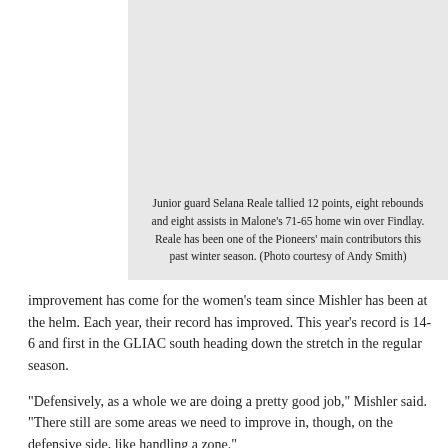[Figure (photo): Photo of junior guard Selana Reale, shown in a gray placeholder box]
Junior guard Selana Reale tallied 12 points, eight rebounds and eight assists in Malone’s 71-65 home win over Findlay. Reale has been one of the Pioneers’ main contributors this past winter season. (Photo courtesy of Andy Smith)
improvement has come for the women’s team since Mishler has been at the helm. Each year, their record has improved. This year’s record is 14-6 and first in the GLIAC south heading down the stretch in the regular season.
“Defensively, as a whole we are doing a pretty good job,” Mishler said. “There still are some areas we need to improve in, though, on the defensive side, like handling a zone.”
The women give up 62.8 points a game, which is the least amount a team gives up in a game.